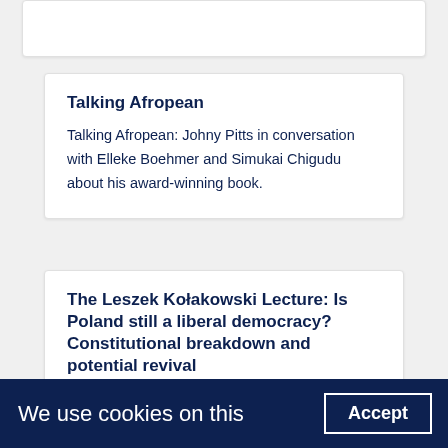Talking Afropean
Talking Afropean: Johny Pitts in conversation with Elleke Boehmer and Simukai Chigudu about his award-winning book.
The Leszek Kołakowski Lecture: Is Poland still a liberal democracy? Constitutional breakdown and potential revival
We use cookies on this
Accept